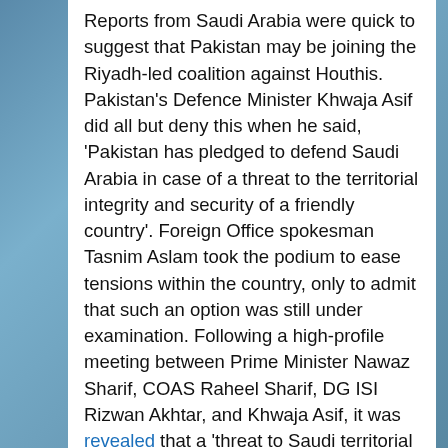Reports from Saudi Arabia were quick to suggest that Pakistan may be joining the Riyadh-led coalition against Houthis. Pakistan's Defence Minister Khwaja Asif did all but deny this when he said, 'Pakistan has pledged to defend Saudi Arabia in case of a threat to the territorial integrity and security of a friendly country'. Foreign Office spokesman Tasnim Aslam took the podium to ease tensions within the country, only to admit that such an option was still under examination. Following a high-profile meeting between Prime Minister Nawaz Sharif, COAS Raheel Sharif, DG ISI Rizwan Akhtar, and Khwaja Asif, it was revealed that a 'threat to Saudi territorial integrity would evoke a strong response from Pakistan'. To add to the confusion, it was also reported that Pakistani and Saudi forces have been conducting joint military exercises near the Yemeni border. Furthermore, one of the...